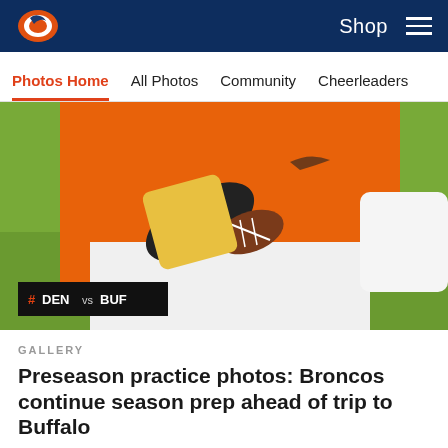Shop
Photos Home  All Photos  Community  Cheerleaders
[Figure (photo): Denver Broncos player in orange jersey carrying a football during preseason practice, with a #DEN vs BUF badge overlay in the lower left]
GALLERY
Preseason practice photos: Broncos continue season prep ahead of trip to Buffalo
Take a look inside the Broncos' week of practice ahead of their second preseason game.
[Figure (photo): Denver Broncos coach or staff member wearing a camouflage hat on the practice field, stadium visible in background]